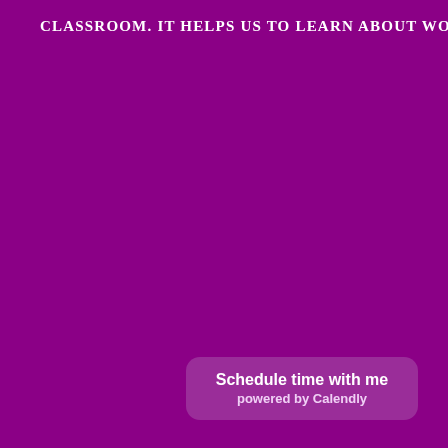CLASSROOM. IT HELPS US TO LEARN ABOUT WORDS-
Schedule time with me
powered by Calendly